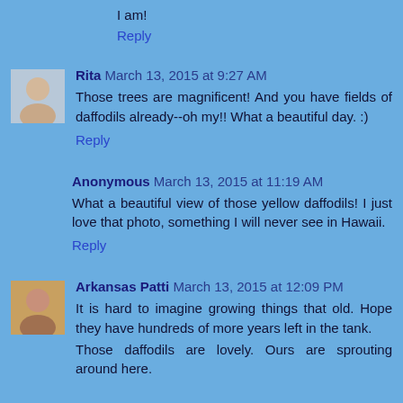I am!
Reply
Rita  March 13, 2015 at 9:27 AM
Those trees are magnificent! And you have fields of daffodils already--oh my!! What a beautiful day. :)
Reply
Anonymous  March 13, 2015 at 11:19 AM
What a beautiful view of those yellow daffodils! I just love that photo, something I will never see in Hawaii.
Reply
Arkansas Patti  March 13, 2015 at 12:09 PM
It is hard to imagine growing things that old. Hope they have hundreds of more years left in the tank.
Those daffodils are lovely. Ours are sprouting around here.